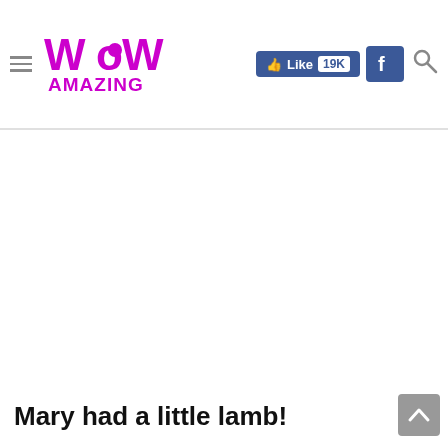WOW Amazing — Like 19K — Facebook — Search
Mary had a little lamb!